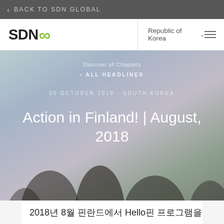BACK TO SDN GLOBAL
[Figure (logo): SDN infinity logo with green infinity symbol]
Republic of Korea
Discover all Chapters
< ALL HEADLINES
05 OCTOBER 2018 - SOUTH KOREA
Action in Finland! | August, 2018
2018년 8월 핀란드에서 Hello핀 프로그램을